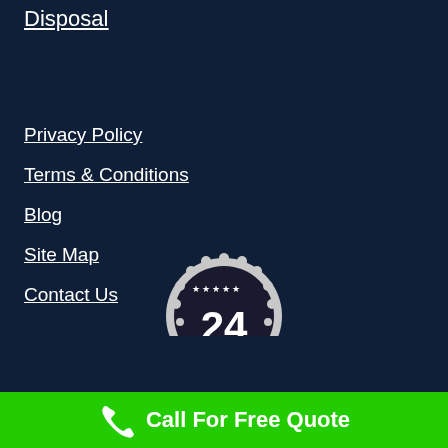Disposal
Privacy Policy
Terms & Conditions
Blog
Site Map
Contact Us
[Figure (logo): 24-hour badge/seal with stars, dark circular emblem with gear-like border]
Call For Free Quote